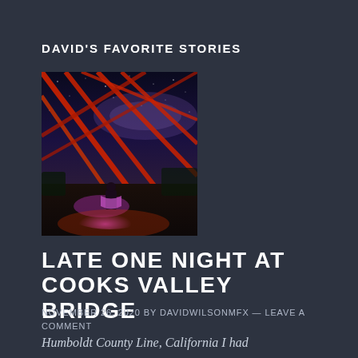DAVID'S FAVORITE STORIES
[Figure (photo): Night photography of Cooks Valley Bridge with red steel trusses, Milky Way visible in the sky, and a person standing on the bridge illuminated by purple/pink light paint.]
LATE ONE NIGHT AT COOKS VALLEY BRIDGE
NOVEMBER 26, 2020 By DAVIDWILSONMFX — LEAVE A COMMENT
Humboldt County Line, California I had